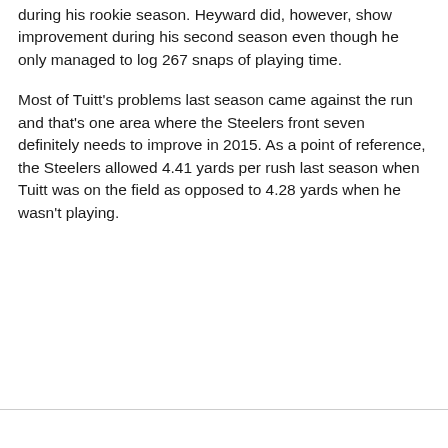during his rookie season. Heyward did, however, show improvement during his second season even though he only managed to log 267 snaps of playing time.
Most of Tuitt's problems last season came against the run and that's one area where the Steelers front seven definitely needs to improve in 2015. As a point of reference, the Steelers allowed 4.41 yards per rush last season when Tuitt was on the field as opposed to 4.28 yards when he wasn't playing.